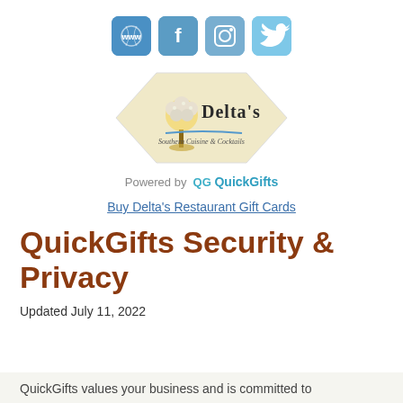[Figure (other): Four social media icon buttons: www (website), Facebook (f), Instagram (camera), Twitter (bird), styled as rounded blue squares]
[Figure (logo): Delta's Southern Cuisine & Cocktails logo: hexagonal cream-colored badge with a tree illustration and cursive text]
Powered by QG QuickGifts
Buy Delta's Restaurant Gift Cards
QuickGifts Security & Privacy
Updated July 11, 2022
QuickGifts values your business and is committed to